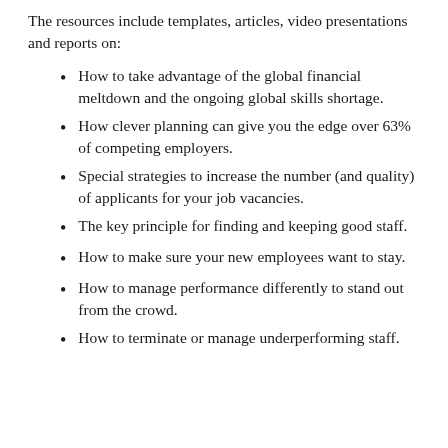The resources include templates, articles, video presentations and reports on:
How to take advantage of the global financial meltdown and the ongoing global skills shortage.
How clever planning can give you the edge over 63% of competing employers.
Special strategies to increase the number (and quality) of applicants for your job vacancies.
The key principle for finding and keeping good staff.
How to make sure your new employees want to stay.
How to manage performance differently to stand out from the crowd.
How to terminate or manage underperforming staff.